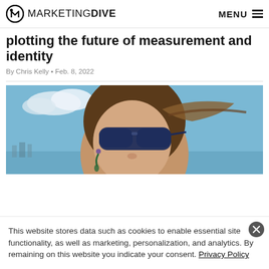MARKETING DIVE  MENU
plotting the future of measurement and identity
By Chris Kelly • Feb. 8, 2022
[Figure (photo): Close-up portrait of a woman wearing blue sunglasses, hair blowing in the wind, outdoor background with blue sky and water]
This website stores data such as cookies to enable essential site functionality, as well as marketing, personalization, and analytics. By remaining on this website you indicate your consent. Privacy Policy